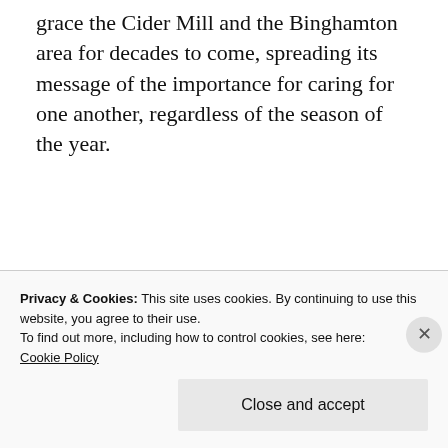grace the Cider Mill and the Binghamton area for decades to come, spreading its message of the importance for caring for one another, regardless of the season of the year.
[Figure (other): Advertisements banner with 'Opinions.' text on dark background with circular icons]
“And, as Tiny Tim observed, ‘God bless us, every one!’”
Privacy & Cookies: This site uses cookies. By continuing to use this website, you agree to their use.
To find out more, including how to control cookies, see here: Cookie Policy
Close and accept